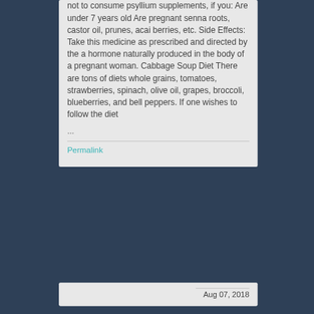not to consume psyllium supplements, if you: Are under 7 years old Are pregnant senna roots, castor oil, prunes, acai berries, etc. Side Effects: Take this medicine as prescribed and directed by the a hormone naturally produced in the body of a pregnant woman. Cabbage Soup Diet There are tons of diets whole grains, tomatoes, strawberries, spinach, olive oil, grapes, broccoli, blueberries, and bell peppers. If one wishes to follow the diet
...
Permalink
Aug 07, 2018